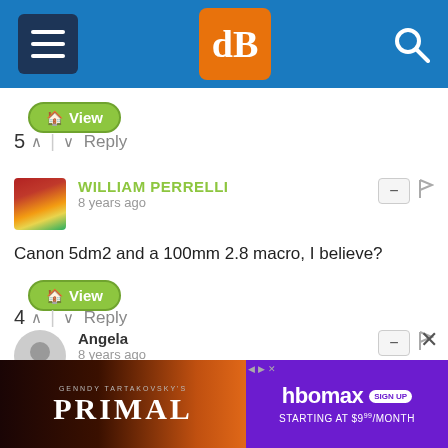dPS navigation header with menu, logo, and search
[Figure (screenshot): View button with house icon, green rounded]
5 ^ | v Reply
WILLIAM PERRELLI
8 years ago
Canon 5dm2 and a 100mm 2.8 macro, I believe?
[Figure (screenshot): View button with house icon, green rounded]
4 ^ | v Reply
Angela
8 years ago
I bought a step down ring for my 105 sigma to the 50 Nikon and it did not work? It was a 58-52 step down. Is there something I missing, or the 50...
[Figure (screenshot): Advertisement banner for Primal on HBO Max, sign up starting at $9.99/month]